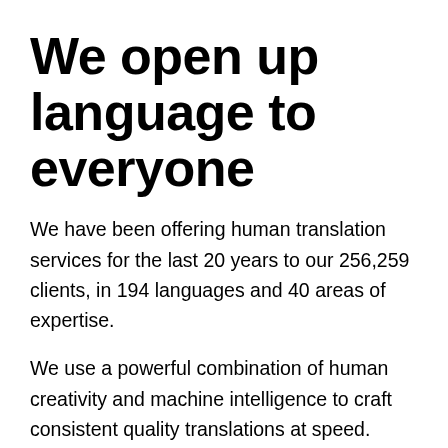We open up language to everyone
We have been offering human translation services for the last 20 years to our 256,259 clients, in 194 languages and 40 areas of expertise.
We use a powerful combination of human creativity and machine intelligence to craft consistent quality translations at speed.
We pride ourselves in being considered one of